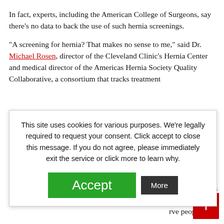In fact, experts, including the American College of Surgeons, say there’s no data to back the use of such hernia screenings.
“A screening for hernia? That makes no sense to me,” said Dr. Michael Rosen, director of the Cleveland Clinic’s Hernia Center and medical director of the Americas Hernia Society Quality Collaborative, a consortium that tracks treatment … eople to the … f letting hernias … s educate the … erve people who … hospitals said … ent options, not
This site uses cookies for various purposes. We’re legally required to request your consent. Click accept to close this message. If you do not agree, please immediately exit the service or click more to learn why.
Accept
More